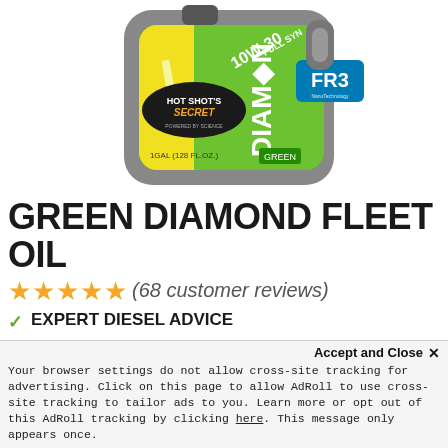[Figure (photo): Product photo of Hot Shot's Secret Green Diamond Fleet Oil 10W-30 Full Synthetic motor oil in a 1 gallon (128 fl. oz.) grey jug with green and yellow label featuring FR3 Nano Technology branding.]
GREEN DIAMOND FLEET OIL
★★★★★ (68 customer reviews)
✓ EXPERT DIESEL ADVICE
✓ 100% SATISFACTION or your money back
✓ GUARANTEED not to void your manufacturer's    tv
Accept and Close ✕
Your browser settings do not allow cross-site tracking for advertising. Click on this page to allow AdRoll to use cross-site tracking to tailor ads to you. Learn more or opt out of this AdRoll tracking by clicking here. This message only appears once.